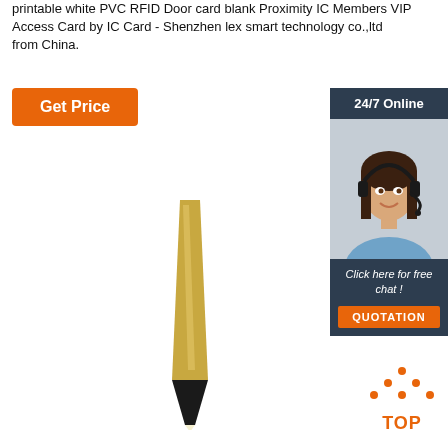printable white PVC RFID Door card blank Proximity IC Members VIP Access Card by IC Card - Shenzhen lex smart technology co.,ltd from China.
[Figure (other): Orange 'Get Price' button]
[Figure (other): 24/7 Online customer service sidebar with photo of woman wearing headset, 'Click here for free chat!' text, and orange QUOTATION button]
[Figure (photo): Product image showing a pen or stylus with gold and black coloring on white background]
[Figure (other): Orange 'TOP' button with dots above forming a triangle/arrow shape]